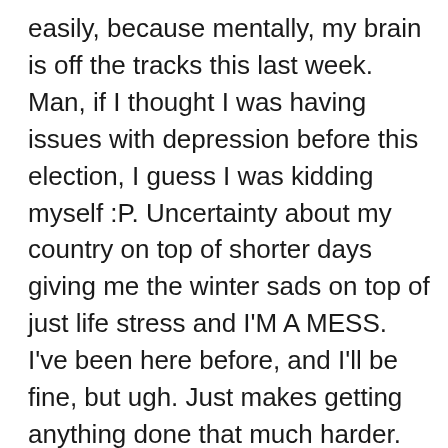easily, because mentally, my brain is off the tracks this last week. Man, if I thought I was having issues with depression before this election, I guess I was kidding myself :P. Uncertainty about my country on top of shorter days giving me the winter sads on top of just life stress and I'M A MESS. I've been here before, and I'll be fine, but ugh. Just makes getting anything done that much harder. On the plus side, tomorrow's page has all sorts of things going on! In fact, it's the climax of this chapter >:). We're still about seventeen pages from the end of this chapter, though. I knew it would be long! Like, really, really long. But so it goes, this